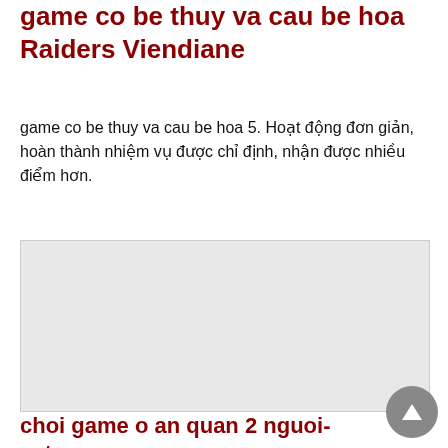game co be thuy va cau be hoa Raiders Viendiane
game co be thuy va cau be hoa 5. Hoạt động đơn giản, hoàn thành nhiệm vụ được chỉ định, nhận được nhiều điểm hơn.
[Figure (photo): Light gray placeholder image region]
choi game o an quan 2 nguoi-cats: crash arena turbo stars
choi game o an quan 2 nguoi .Trò chơi di động